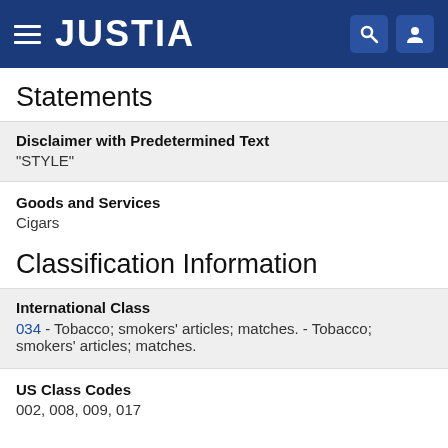JUSTIA
Statements
Disclaimer with Predetermined Text
"STYLE"
Goods and Services
Cigars
Classification Information
International Class
034 - Tobacco; smokers' articles; matches. - Tobacco; smokers' articles; matches.
US Class Codes
002, 008, 009, 017